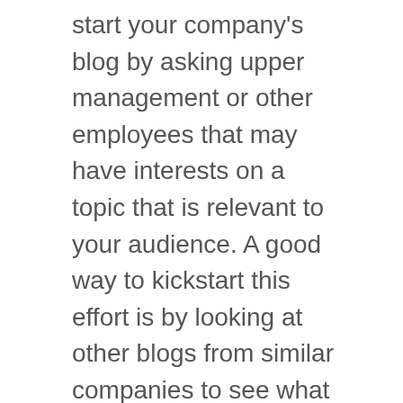start your company's blog by asking upper management or other employees that may have interests on a topic that is relevant to your audience. A good way to kickstart this effort is by looking at other blogs from similar companies to see what topics they're covering. However, always remember to write original content. If you want to write about the same subject, find another angle, or include a current industry report or an expert opinion that adds value to your audience.
Just like with your news release schedule, you can keep track of your blog ideas in a